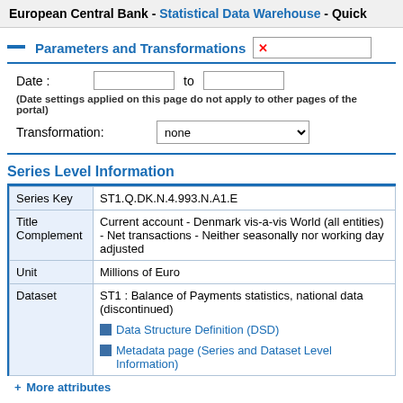European Central Bank - Statistical Data Warehouse - Quick
Parameters and Transformations
Date :     to
(Date settings applied on this page do not apply to other pages of the portal)
Transformation:  none
Series Level Information
|  |  |
| --- | --- |
| Series Key | ST1.Q.DK.N.4.993.N.A1.E |
| Title Complement | Current account - Denmark vis-a-vis World (all entities) - Net transactions - Neither seasonally nor working day adjusted |
| Unit | Millions of Euro |
| Dataset | ST1 : Balance of Payments statistics, national data (discontinued)

Data Structure Definition (DSD)
Metadata page (Series and Dataset Level Information) |
+ More attributes